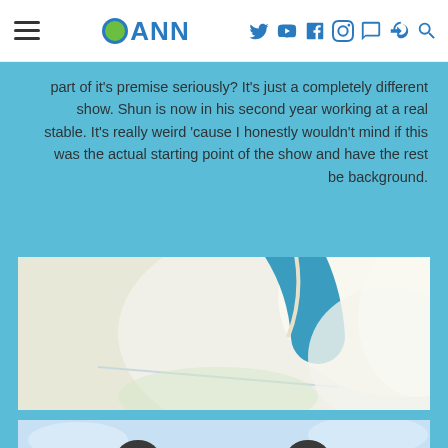ANN (Anime News Network) website header with hamburger menu, ANN logo, and social/nav icons (Twitter, YouTube, Facebook, Instagram, forum, login, search)
part of it's premise seriously? It's just a completely different show. Shun is now in his second year working at a real stable. It's really weird 'cause I honestly wouldn't mind if this was the actual starting point of the show and have the rest be background.
[Figure (photo): Anime screenshot showing a close-up of a large teal/blue circular shape (possibly a part of racing equipment or helmet) against a light cream and white background]
[Figure (photo): Anime screenshot showing two jockeys wearing helmets and racing gear, smiling, against a light blue sky background]